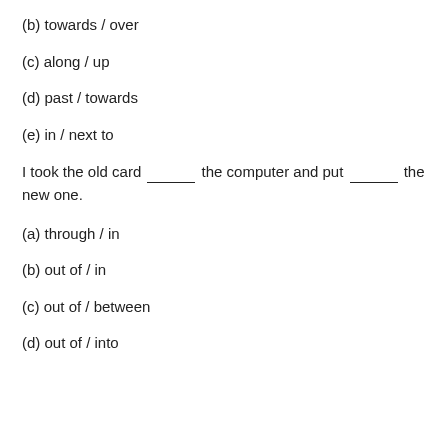(b) towards / over
(c) along / up
(d) past / towards
(e) in / next to
I took the old card ______ the computer and put ______ the new one.
(a) through / in
(b) out of / in
(c) out of / between
(d) out of / into